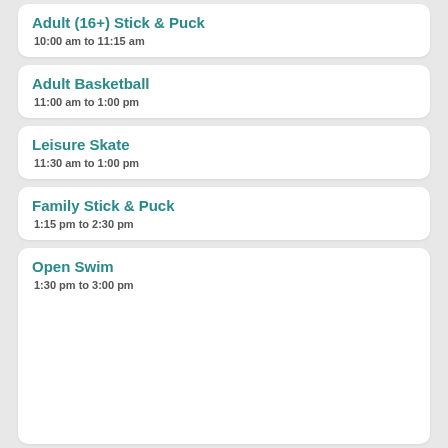Adult (16+) Stick & Puck
10:00 am to 11:15 am
Adult Basketball
11:00 am to 1:00 pm
Leisure Skate
11:30 am to 1:00 pm
Family Stick & Puck
1:15 pm to 2:30 pm
Open Swim
1:30 pm to 3:00 pm